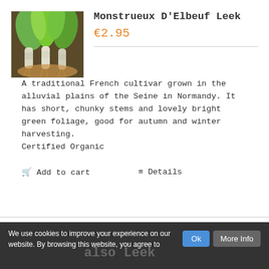[Figure (photo): Photo of Monstrueux D'Elbeuf Leek plants being held up, showing large leek stems with bright green foliage and roots]
Monstrueux D'Elbeuf Leek
€2.95
A traditional French cultivar grown in the alluvial plains of the Seine in Normandy. It has short, chunky stems and lovely bright green foliage, good for autumn and winter harvesting.
Certified Organic
🛒 Add to cart
≡ Details
We use cookies to improve your experience on our website. By browsing this website, you agree to